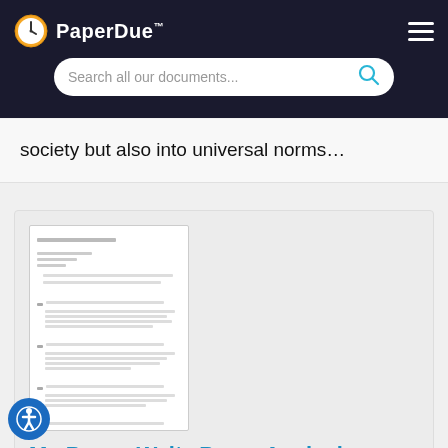PaperDue™
society but also into universal norms…
[Figure (screenshot): Thumbnail preview of a document page with lines of text]
My Papas Waltz Poem Analysis
Words: 691   Length: 2 Pages   Document Type: Essay